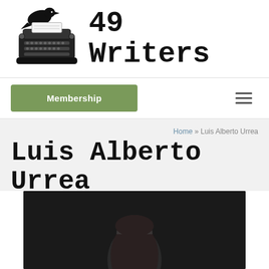[Figure (logo): 49 Writers logo: a crow sitting on a typewriter with the text '49 Writers' in typewriter font]
[Figure (other): Navigation bar with green Membership button and hamburger menu icon]
Home » Luis Alberto Urrea
Luis Alberto Urrea
[Figure (photo): Photo of Luis Alberto Urrea against a dark background, partially visible at bottom of page]